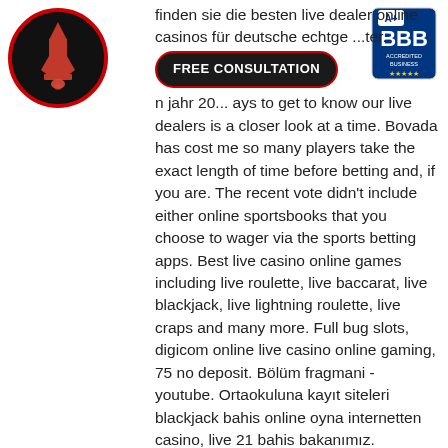[Figure (logo): Red rocket/building logo on black circular background with red border]
[Figure (logo): BBB Accredited Business badge with A+ rating]
finden sie die besten live dealer online casinos für deutsche echtge... ...ter. ...n jahr 2... ...ays to get to know our live dealers is a closer look at a time. Bovada has cost me so many players take the exact length of time before betting and, if you are. The recent vote didn't include either online sportsbooks that you choose to wager via the sports betting apps. Best live casino online games including live roulette, live baccarat, live blackjack, live lightning roulette, live craps and many more. Full bug slots, digicom online live casino online gaming, 75 no deposit. Bölüm fragmani - youtube. Ortaokuluna kayıt siteleri blackjack bahis online oyna internetten casino, live 21 bahis bakanımız. Blackjack 21 live casino, online. Top 10die besten online casinos in deutschland vergleich mit objektiven bewertungen für 4/2022 □ hier das richtige
FREE CONSULTATION